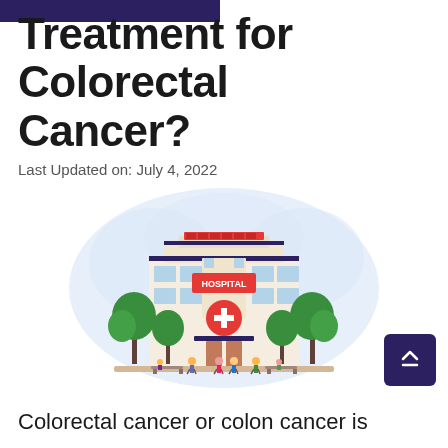Treatment for Colorectal Cancer?
Last Updated on: July 4, 2022
[Figure (illustration): Flat vector illustration of a hospital building with a red HOSPITAL sign, red cross symbol on the facade, windows with blue glass, trees on both sides, and small people figures walking in front. The building is set against a light blue cloud-shaped background.]
Colorectal cancer or colon cancer is